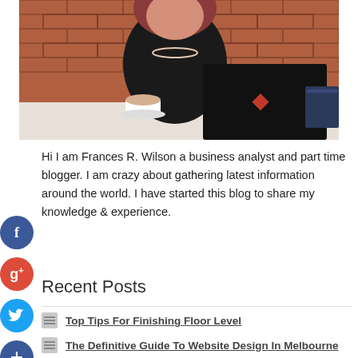[Figure (photo): Woman in black top with pearl necklace sitting at table with laptop and coffee cup, brick wall background]
Hi I am Frances R. Wilson a business analyst and part time blogger. I am crazy about gathering latest information around the world. I have started this blog to share my knowledge & experience.
Recent Posts
Top Tips For Finishing Floor Level
The Definitive Guide To Website Design In Melbourne